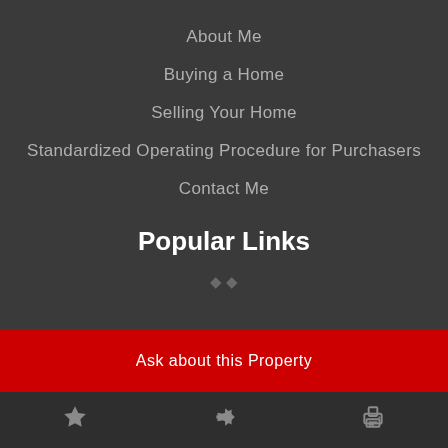About Me
Buying a Home
Selling Your Home
Standardized Operating Procedure for Purchasers
Contact Me
Popular Links
Ask about this Property